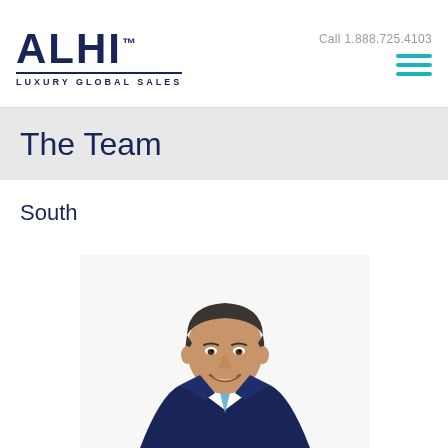ALHI™ LUXURY GLOBAL SALES | Call 1.888.725.4103
The Team
South
[Figure (photo): Professional headshot of a man in a dark navy suit with a light blue tie, smiling, against a white background]